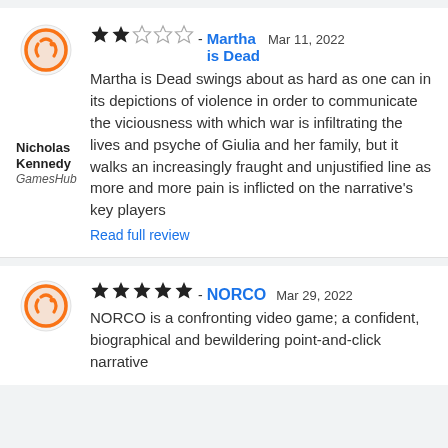Nicholas Kennedy
GamesHub
★★☆☆☆ - Martha is Dead   Mar 11, 2022
Martha is Dead swings about as hard as one can in its depictions of violence in order to communicate the viciousness with which war is infiltrating the lives and psyche of Giulia and her family, but it walks an increasingly fraught and unjustified line as more and more pain is inflicted on the narrative's key players
Read full review
★★★★★ - NORCO   Mar 29, 2022
NORCO is a confronting video game; a confident, biographical and bewildering point-and-click narrative